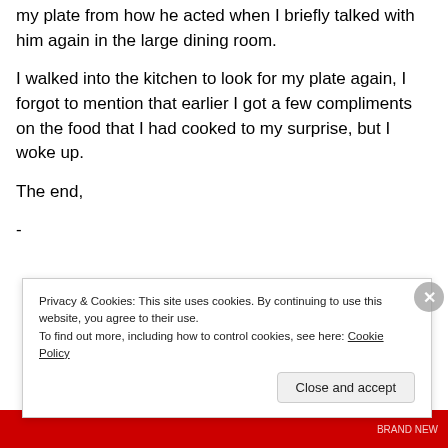my plate from how he acted when I briefly talked with him again in the large dining room.
I walked into the kitchen to look for my plate again, I forgot to mention that earlier I got a few compliments on the food that I had cooked to my surprise, but I woke up.
The end,
-
Privacy & Cookies: This site uses cookies. By continuing to use this website, you agree to their use. To find out more, including how to control cookies, see here: Cookie Policy
Close and accept